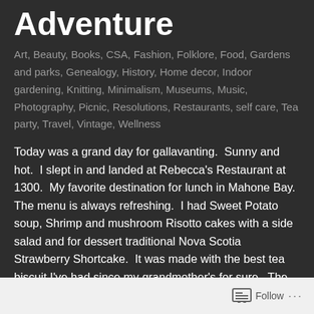Adventure
Art, Beauty, Books, CSA, Fashion, Folklore, Food, Gardens and parks, Genealogy, History, Home decor, Indoor gardening, Knitting, Minimalism, Museums, Music, Photography, Picnic, Resolutions, Restaurants, self care, Tea party, Travel, Vintage, Wellness
Today was a grand day for gallavanting.  Sunny and hot.  I slept in and landed at Rebecca's Restaurant at 1300.  My favorite destination for lunch in Mahone Bay.  The menu is always refreshing.  I had Sweet Potato soup, Shrimp and mushroom Risotto cakes with a side salad and for dessert traditional Nova Scotia Strawberry Shortcake.  It was made with the best tea biscuit I've had since my grandmother's for sure.  The new location is brillant.  On Edgewater Street, it has loads of parking
Follow